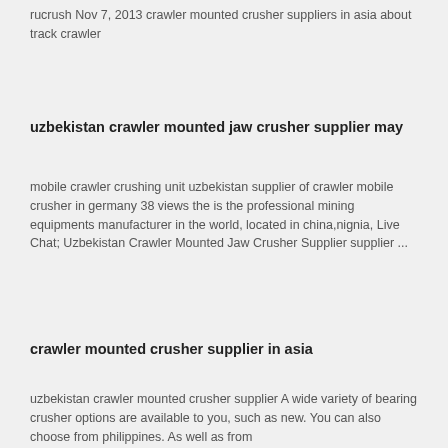rucrush Nov 7, 2013 crawler mounted crusher suppliers in asia about track crawler
uzbekistan crawler mounted jaw crusher supplier may
mobile crawler crushing unit uzbekistan supplier of crawler mobile crusher in germany 38 views the is the professional mining equipments manufacturer in the world, located in china,nignia, Live Chat; Uzbekistan Crawler Mounted Jaw Crusher Supplier supplier ...
crawler mounted crusher supplier in asia
uzbekistan crawler mounted crusher supplier A wide variety of bearing crusher options are available to you, such as new. You can also choose from philippines. As well as from